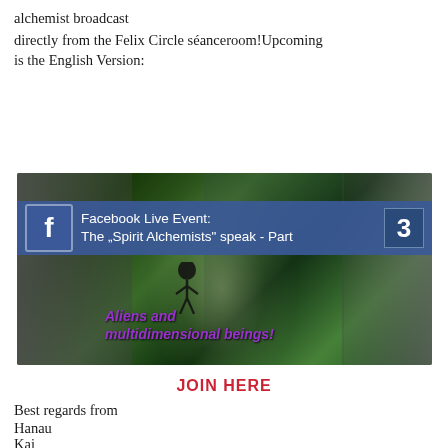alchemist broadcast
directly from the Felix Circle séanceroom!Upcoming is the English Version:
[Figure (photo): Facebook Live Event promotional image: 'Facebook Live Event: The „Spirit Alchemists“ speak - Part 3' banner overlaid on a dark green/black composite background showing an alien face on the left, a central male figure, a small alien silhouette in a doorway of light, an older man on the right, and bold italic purple text reading 'Aliens and multidimensional beings!']
JOIN HERE
Best regards from
Hanau
Kai